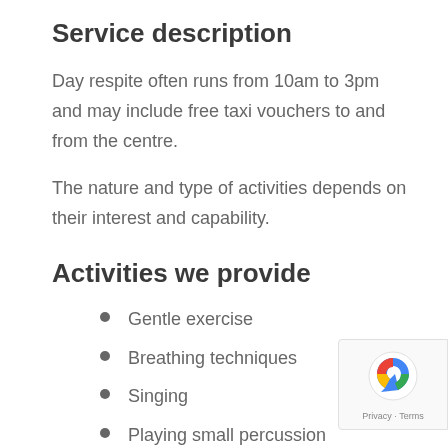Service description
Day respite often runs from 10am to 3pm and may include free taxi vouchers to and from the centre.
The nature and type of activities depends on their interest and capability.
Activities we provide
Gentle exercise
Breathing techniques
Singing
Playing small percussion instruments